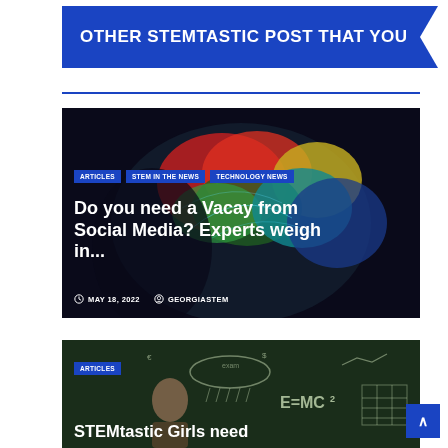OTHER STEMTASTIC POST THAT YOU
[Figure (photo): Colorful brain illustration with red, green, yellow, teal and blue regions on dark background, representing a human brain cross-section]
ARTICLES | STEM IN THE NEWS | TECHNOLOGY NEWS
Do you need a Vacay from Social Media? Experts weigh in...
MAY 18, 2022  GEORGIASTEM
[Figure (photo): Young woman with glasses standing in front of a chalkboard covered in math equations including E=MC2]
ARTICLES
STEMtastic Girls need